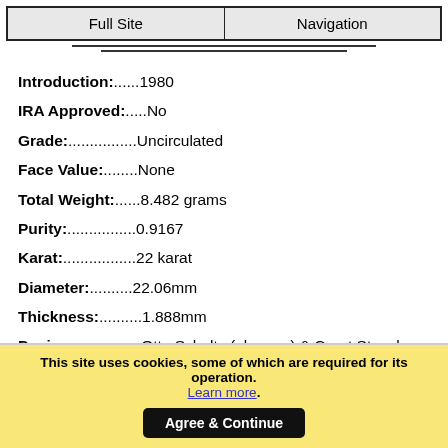Full Site | Navigation
Introduction:......1980
IRA Approved:.....No
Grade:................Uncirculated
Face Value:........None
Total Weight:......8.482 grams
Purity:................0.9167
Karat:..................22 karat
Diameter:..........22.06mm
Thickness:..........1.888mm
Designers:..........Otto Schultz (obverse) & Coert Steynberg (reverse)
This site uses cookies, some of which are required for its operation. Learn more. Agree & Continue